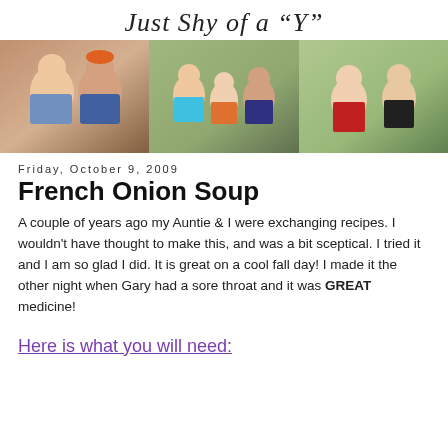Just Shy of a "Y"
[Figure (photo): Three family photos side by side: couple selfie on left, family group in middle, two children on right]
Friday, October 9, 2009
French Onion Soup
A couple of years ago my Auntie & I were exchanging recipes. I wouldn't have thought to make this, and was a bit sceptical. I tried it and I am so glad I did. It is great on a cool fall day! I made it the other night when Gary had a sore throat and it was GREAT medicine!
Here is what you will need: